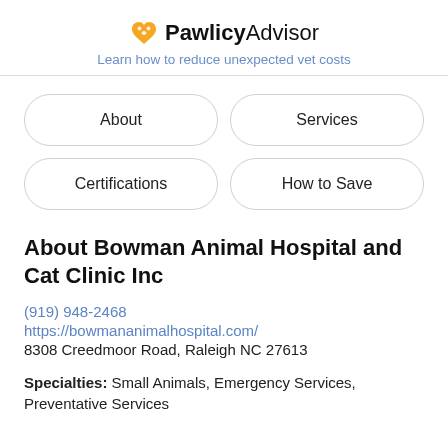PawlicyAdvisor — Learn how to reduce unexpected vet costs
About
Services
Certifications
How to Save
About Bowman Animal Hospital and Cat Clinic Inc
(919) 948-2468
https://bowmananimalhospital.com/
8308 Creedmoor Road, Raleigh NC 27613
Specialties: Small Animals, Emergency Services, Preventative Services